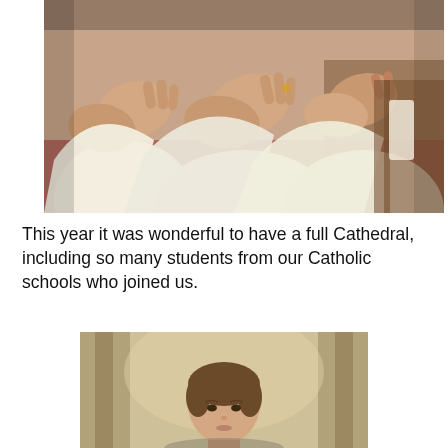[Figure (photo): Close-up photo of people in white robes clapping their hands in a church or cathedral setting, with wooden pews visible in the background.]
This year it was wonderful to have a full Cathedral, including so many students from our Catholic schools who joined us.
[Figure (photo): Portrait photo of a young woman with her hair pulled back, standing inside a cathedral with blurred stone columns visible in the background.]